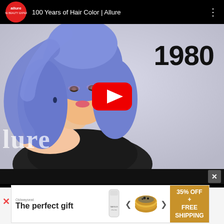[Figure (screenshot): YouTube video embed showing '100 Years of Hair Color | Allure' with thumbnail of a woman with blue hair and '1980' text overlay, featuring a red YouTube play button in the center. The video player has a black top bar with the Allure logo and video title, and a black bottom bar with a close X button.]
[Figure (photo): Advertisement banner showing 'The perfect gift' text with product images including a tall drink container and a bowl of food, with navigation arrows and a gold/brown right section showing '35% OFF + FREE SHIPPING']